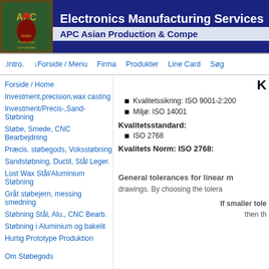Electronics Manufacturing Services
APC Asian Production & Compe
.Intro.  ↓Forside / Menu  Firma  Produkter  Line Card  Søg
Forside / Home
Investment,precision,wax casting
Investment/Precis-,Sand-Støbning
Støbe, Smede, CNC Bearbejdning
Præcis. støbegods, Voksstøbning
Sandstøbning, Ductil, Stål Leger.
Lost Wax Stål/Aluminium Støbning
Gråt støbejern, messing smedning
Støbning Stål, Alu., CNC Bearb.
Støbning i Aluminium og bakelit
Hurtig Prototype Produktion
Om Støbegods
K
Kvalitetssikring:  ISO 9001-2:200  Miljø: ISO 14001
Kvalitetsstandard:
ISO 2768
Kvalitets Norm:  ISO 2768:
General tolerances for linear m drawings. By choosing the tolera
If smaller tole then th